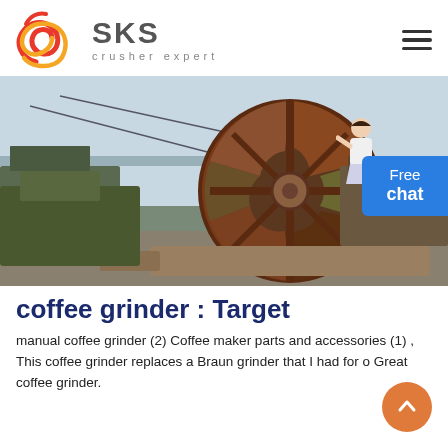[Figure (logo): SKS Crusher Expert logo with red swirl emblem and gray SKS text with 'crusher expert' subtitle]
[Figure (photo): Industrial machinery photo showing a large rusty water wheel or crusher wheel on a riverbank with boats in the background]
coffee grinder : Target
manual coffee grinder (2) Coffee maker parts and accessories (1) , This coffee grinder replaces a Braun grinder that I had for o... Great coffee grinder.